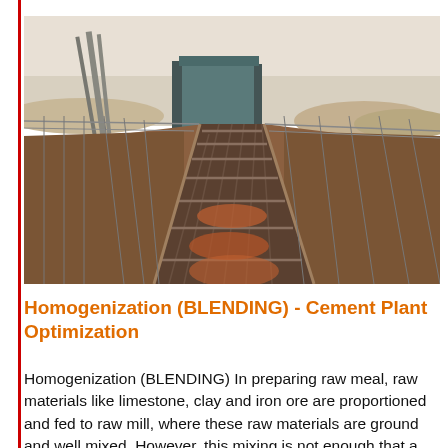[Figure (photo): Industrial conveyor belt system at a cement or mining plant, photographed from ground level looking along the belt toward a large structure in the background, with arid landscape on either side.]
Homogenization (BLENDING) - Cement Plant Optimization
Homogenization (BLENDING) In preparing raw meal, raw materials like limestone, clay and iron ore are proportioned and fed to raw mill, where these raw materials are ground and well mixed. However, this mixing is not enough that a very homogeneous of